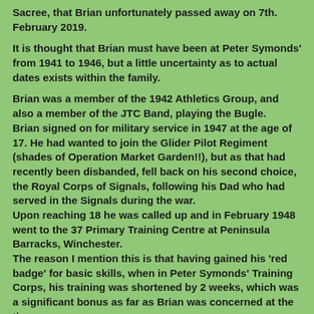Sacree, that Brian unfortunately passed away on 7th. February 2019.

It is thought that Brian must have been at Peter Symonds' from 1941 to 1946, but a little uncertainty as to actual dates exists within the family.
Brian was a member of the 1942 Athletics Group, and also a member of the JTC Band, playing the Bugle.
Brian signed on for military service in 1947 at the age of 17. He had wanted to join the Glider Pilot Regiment (shades of Operation Market Garden!!), but as that had recently been disbanded, fell back on his second choice, the Royal Corps of Signals, following his Dad who had served in the Signals during the war.
Upon reaching 18 he was called up and in February 1948 went to the 37 Primary Training Centre at Peninsula Barracks, Winchester.
The reason I mention this is that having gained his 'red badge' for basic skills, when in Peter Symonds' Training Corps, his training was shortened by 2 weeks, which was a significant bonus as far as Brian was concerned at the time.
His experience in the Signals was the foundation of his later